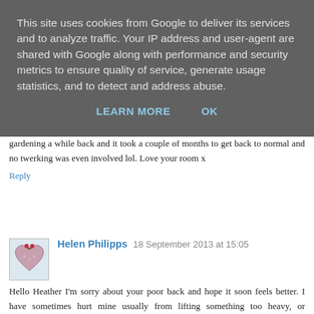This site uses cookies from Google to deliver its services and to analyze traffic. Your IP address and user-agent are shared with Google along with performance and security metrics to ensure quality of service, generate usage statistics, and to detect and address abuse.
LEARN MORE   OK
gardening a while back and it took a couple of months to get back to normal and no twerking was even involved lol. Love your room x
Reply
Helen Philipps  18 September 2013 at 15:05
Hello Heather I'm sorry about your poor back and hope it soon feels better. I have sometimes hurt mine usually from lifting something too heavy, or gardening......once you do it it takes ages to stop hurting. Your bedroom looks like a real sanctuary to recover in! Love the pretty cushion and artwork.
I'm just going to look up what twerking is now :)